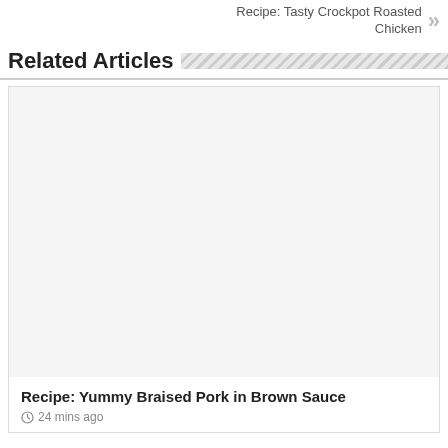Recipe: Tasty Crockpot Roasted Chicken »
Related Articles
[Figure (photo): Placeholder image area for recipe article thumbnail]
Recipe: Yummy Braised Pork in Brown Sauce
24 mins ago